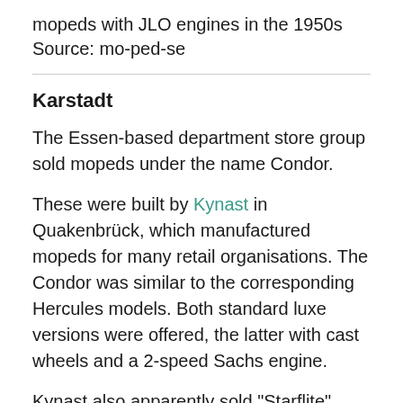mopeds with JLO engines in the 1950s
Source: mo-ped-se
Karstadt
The Essen-based department store group sold mopeds under the name Condor.
These were built by Kynast in Quakenbrück, which manufactured mopeds for many retail organisations. The Condor was similar to the corresponding Hercules models. Both standard luxe versions were offered, the latter with cast wheels and a 2-speed Sachs engine.
Kynast also apparently sold "Starflite" under their own name.